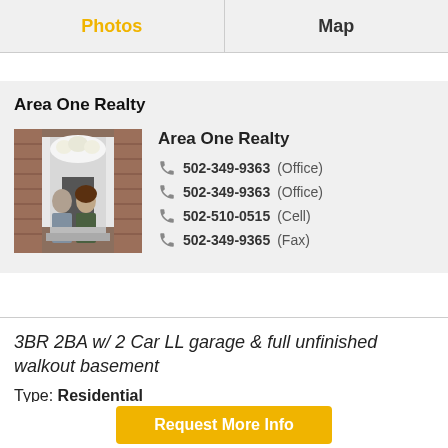Photos | Map
Area One Realty
[Figure (photo): Two people (a man and a woman) standing in front of a building entrance with decorative flowers, brick walls, and white columns.]
Area One Realty
502-349-9363 (Office)
502-349-9363 (Office)
502-510-0515 (Cell)
502-349-9365 (Fax)
3BR 2BA w/ 2 Car LL garage & full unfinished walkout basement
Type: Residential
Request More Info